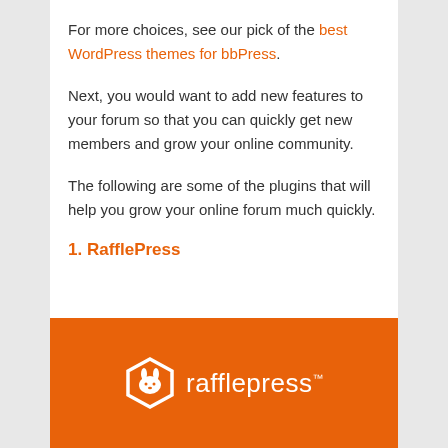For more choices, see our pick of the best WordPress themes for bbPress.
Next, you would want to add new features to your forum so that you can quickly get new members and grow your online community.
The following are some of the plugins that will help you grow your online forum much quickly.
1. RafflePress
[Figure (logo): RafflePress logo on orange background — white hexagonal rabbit icon and white 'rafflepress' wordmark with TM symbol]